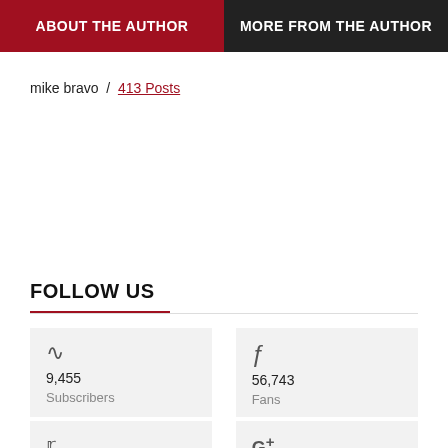ABOUT THE AUTHOR
MORE FROM THE AUTHOR
mike bravo / 413 Posts
FOLLOW US
9,455 Subscribers
56,743 Fans